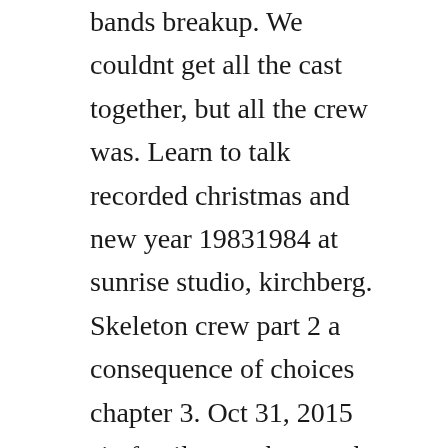bands breakup. We couldnt get all the cast together, but all the crew was. Learn to talk recorded christmas and new year 19831984 at sunrise studio, kirchberg. Skeleton crew part 2 a consequence of choices chapter 3. Oct 31, 2015 six family members gather for an evening of halloween merriment. A horror film shoot in an abandoned mental hospital with a dark history turns terrifying after the cast and crew make a morbid discovery in the bowels of the dilapidated building.
Written by dominique morisseau directed by